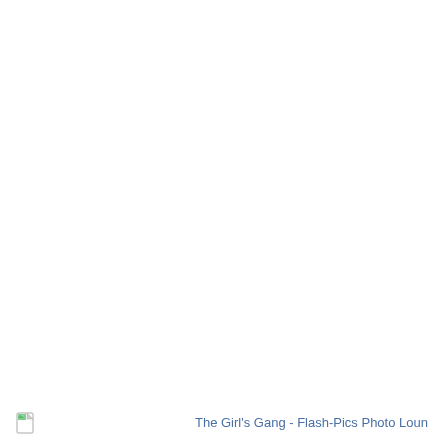[Figure (illustration): Broken image icon (small document icon with green/blue corner) in bottom-left area]
The Girl's Gang - Flash-Pics Photo Loun